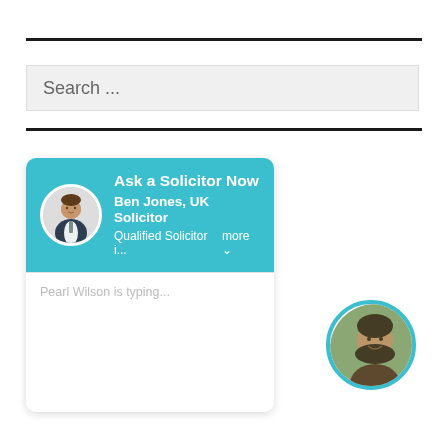[Figure (screenshot): Horizontal black divider line at top]
Search ...
[Figure (screenshot): Horizontal black divider line below search box]
[Figure (screenshot): Chat widget with teal header showing 'Ask a Solicitor Now', 'Ben Jones, UK Solicitor', 'Qualified Solicitor i... more', a solicitor avatar, and a chat body with 'Pearl Wilson is typing...' text. A second circular avatar of a woman with teal border appears to the right outside the widget.]